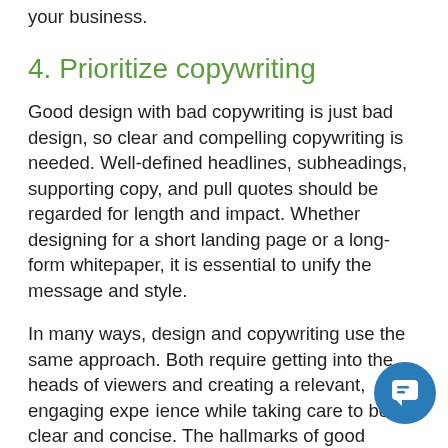your business.
4. Prioritize copywriting
Good design with bad copywriting is just bad design, so clear and compelling copywriting is needed. Well-defined headlines, subheadings, supporting copy, and pull quotes should be regarded for length and impact. Whether designing for a short landing page or a long-form whitepaper, it is essential to unify the message and style.
In many ways, design and copywriting use the same approach. Both require getting into the heads of viewers and creating a relevant, engaging experience while taking care to be clear and concise. The hallmarks of good copywriting is that…
[Figure (illustration): Blue circular chat bubble icon in lower right corner]